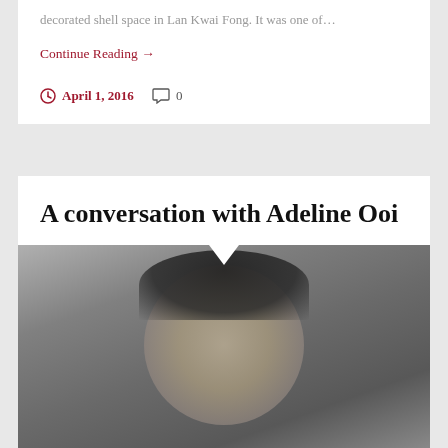decorated shell space in Lan Kwai Fong. It was one of…
Continue Reading →
April 1, 2016   0
A conversation with Adeline Ooi
[Figure (photo): Portrait photo of Adeline Ooi, a woman with short dark hair wearing a gray textured top, photographed against a gray background.]